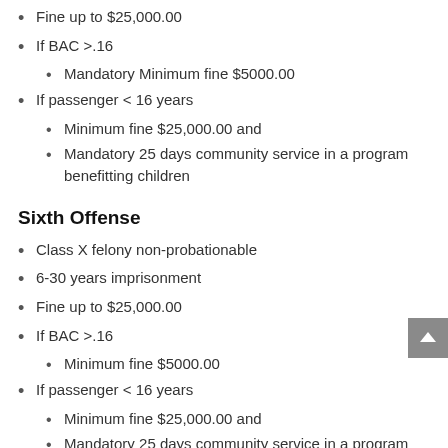Fine up to $25,000.00
If BAC >.16
Mandatory Minimum fine $5000.00
If passenger < 16 years
Minimum fine $25,000.00 and
Mandatory 25 days community service in a program benefitting children
Sixth Offense
Class X felony non-probationable
6-30 years imprisonment
Fine up to $25,000.00
If BAC >.16
Minimum fine $5000.00
If passenger < 16 years
Minimum fine $25,000.00 and
Mandatory 25 days community service in a program benefitting children